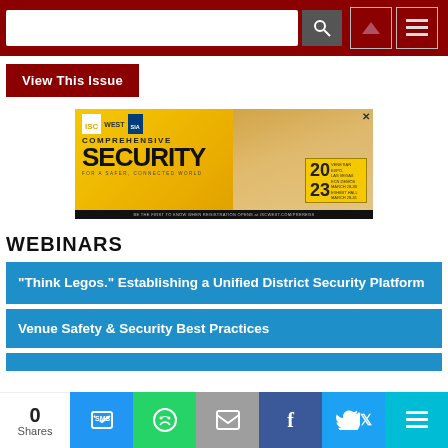Navigation header with search bar, search button, up arrow icon, and menu icon
View This Issue
[Figure (photo): ISC West 2023 advertisement banner: Comprehensive Security for a Safer, Connected World. March 28-31, Venetian Expo, Las Vegas. ECN Demonstrations March 28-30, Exhibit Hall March 28-31. BE THE FIRST TO KNOW WHEN REGISTRATION OPENS at ISCWEST.com/PREREGS]
WEBINARS
"Think Legos." Establishing a Unified District Security Platform
Venue Safety & Security Best Practices
0 Shares — share buttons: SMS, WhatsApp, Email, Facebook, Twitter, More